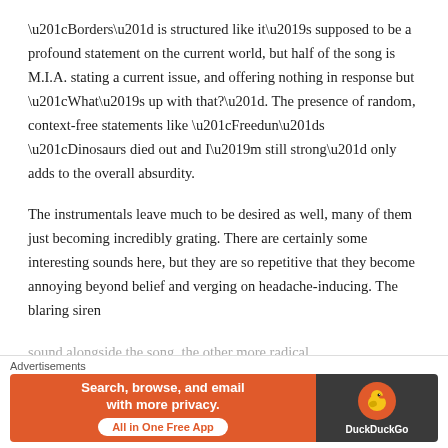“Borders” is structured like it’s supposed to be a profound statement on the current world, but half of the song is M.I.A. stating a current issue, and offering nothing in response but “What’s up with that?”. The presence of random, context-free statements like “Freedun”s “Dinosaurs died out and I’m still strong” only adds to the overall absurdity.
The instrumentals leave much to be desired as well, many of them just becoming incredibly grating. There are certainly some interesting sounds here, but they are so repetitive that they become annoying beyond belief and verging on headache-inducing. The blaring siren
[Figure (other): DuckDuckGo advertisement banner with orange background, text 'Search, browse, and email with more privacy. All in One Free App' and DuckDuckGo logo on dark right panel]
Advertisements